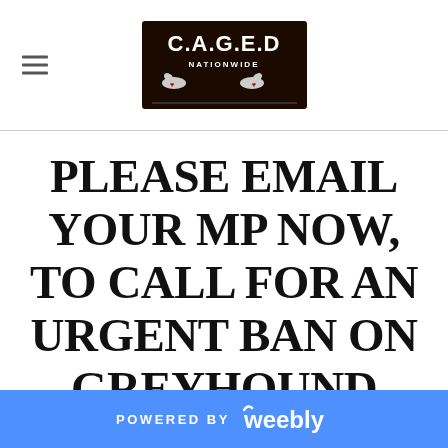[Figure (logo): C.A.G.E.D Nationwide logo — dark banner with white text and two greyhound silhouettes with red hearts]
PLEASE EMAIL YOUR MP NOW, TO CALL FOR AN URGENT BAN ON GREYHOUND RACING
POWERED BY weebly